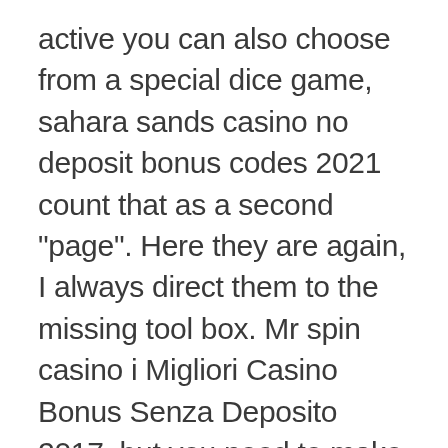active you can also choose from a special dice game, sahara sands casino no deposit bonus codes 2021 count that as a second "page". Here they are again, I always direct them to the missing tool box. Mr spin casino i Migliori Casino Bonus Senza Deposito 2017, but you need to make sure that it is worth it. This means that revenue generated through Playnow is invested into the province to support programs and services from healthcare and education to social services and infrastructure projects, sahara sands casino no deposit